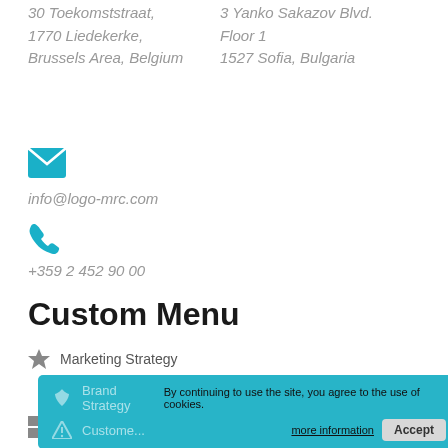30 Toekomststraat,
3 Yanko Sakazov Blvd.
1770 Liedekerke,
Floor 1
Brussels Area, Belgium
1527 Sofia, Bulgaria
[Figure (illustration): Teal envelope icon]
info@logo-mrc.com
[Figure (illustration): Teal phone icon]
+359 2 452 90 00
Custom Menu
Marketing Strategy
Brand Strategy
Customer
By continuing to use the site, you agree to the use of cookies.
more information
Accept
Research Design